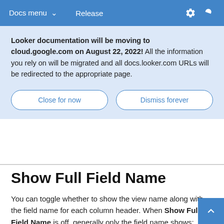Docs menu   Release
Looker documentation will be moving to cloud.google.com on August 22, 2022! All the information you rely on will be migrated and all docs.looker.com URLs will be redirected to the appropriate page.
Close for now
Dismiss forever
Show Full Field Name
You can toggle whether to show the view name along with the field name for each column header. When Show Full Field Name is off, generally only the field name shows; however, measures of type count display